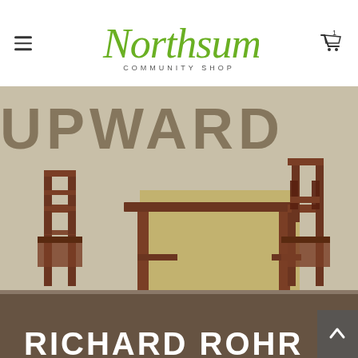Northsumbria Community Shop
[Figure (photo): Book cover photo showing a rustic table with two wooden chairs against a concrete wall with partial text 'UPWARD' visible. Bottom of image shows 'RICHARD ROHR' in white text.]